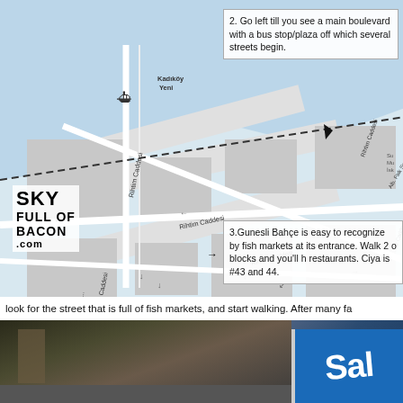[Figure (map): Street map of Kadikoy area showing Rihtim Caddesi and surrounding streets near the waterfront, with ferry terminal marked. Includes labeled streets: Rihtim Caddesi, Ali Faik Sozdes Caddesi, Misbah Muayyes Sokagi. Sky Full of Bacon .com logo in lower left.]
2. Go left till you see a main boulevard with a bus stop/plaza off which several streets begin.
3.Gunesli Bahçe is easy to recognize by fish markets at its entrance. Walk 2 or blocks and you'll hit restaurants. Ciya is #43 and 44.
look for the street that is full of fish markets, and start walking. After many fa
[Figure (photo): Photograph of a street scene showing a blue sign partially visible on the right side, with building facade and awning visible.]